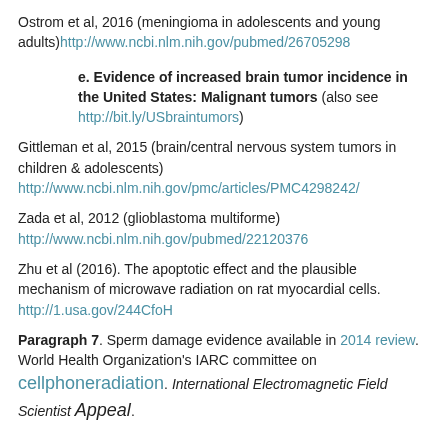Ostrom et al, 2016 (meningioma in adolescents and young adults) http://www.ncbi.nlm.nih.gov/pubmed/26705298
e. Evidence of increased brain tumor incidence in the United States: Malignant tumors (also see http://bit.ly/USbraintumors)
Gittleman et al, 2015 (brain/central nervous system tumors in children & adolescents)
http://www.ncbi.nlm.nih.gov/pmc/articles/PMC4298242/
Zada et al, 2012 (glioblastoma multiforme)
http://www.ncbi.nlm.nih.gov/pubmed/22120376
Zhu et al (2016). The apoptotic effect and the plausible mechanism of microwave radiation on rat myocardial cells.
http://1.usa.gov/244CfoH
Paragraph 7. Sperm damage evidence available in 2014 review. World Health Organization's IARC committee on cellphoneradiation. International Electromagnetic Field Scientist Appeal.